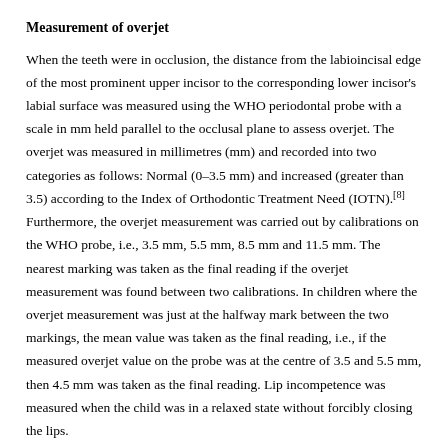Measurement of overjet
When the teeth were in occlusion, the distance from the labioincisal edge of the most prominent upper incisor to the corresponding lower incisor's labial surface was measured using the WHO periodontal probe with a scale in mm held parallel to the occlusal plane to assess overjet. The overjet was measured in millimetres (mm) and recorded into two categories as follows: Normal (0–3.5 mm) and increased (greater than 3.5) according to the Index of Orthodontic Treatment Need (IOTN).[8] Furthermore, the overjet measurement was carried out by calibrations on the WHO probe, i.e., 3.5 mm, 5.5 mm, 8.5 mm and 11.5 mm. The nearest marking was taken as the final reading if the overjet measurement was found between two calibrations. In children where the overjet measurement was just at the halfway mark between the two markings, the mean value was taken as the final reading, i.e., if the measured overjet value on the probe was at the centre of 3.5 and 5.5 mm, then 4.5 mm was taken as the final reading. Lip incompetence was measured when the child was in a relaxed state without forcibly closing the lips.
Evaluation of physical activity